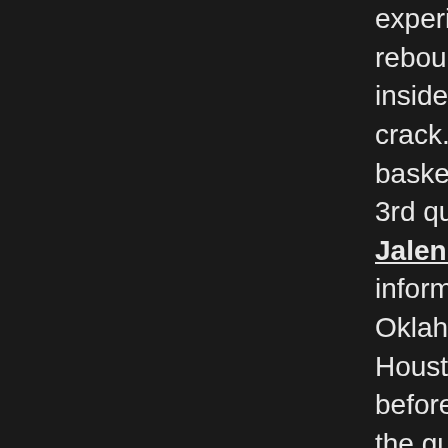experienced 16, and Christian Picket more 16 la rebounds. The Thunder opened the recreation up inside the instant quarter toward choose a 53-41 at the crack. Giddey scored 6 immediately specifi few baskets towards place the Thunder up 65-52 within the 3rd quarter. Oklahoma Town led 80-64 the fourth Jalen Green Jersey. The Rockets sco start with 7 information of the previous quarter in direction of slash Oklahoma Metropolis's guide to solitary digits. Houston trimmed the Thunder con direction of 7 right before Dort strike a 3 as the s expired toward press the guide back again towar basically below 7 minutes in direction of engage one particular-passed putback dunk with over 2 r towards enjoy area the Thunder up 97-87. Idea-INSRockets: Kevin Porter Jr https://www.hrprostore.com/Garrison_Mathe 34. sat out with a remaining thigh bruise. .. gene 12 of 42 3-suggestions. .. Danuel Property negle his pics in opposition to the market. .. Wooden w 16 in opposition to the industry. Thunder: Dort sc details in just the to start with quarter. .. Gilgeous experienced 4 steals within just the initial 50 perc https://www.hrprostore.com/John_Wall_Jerse Thunder protect Tre Mann sprained his specifica